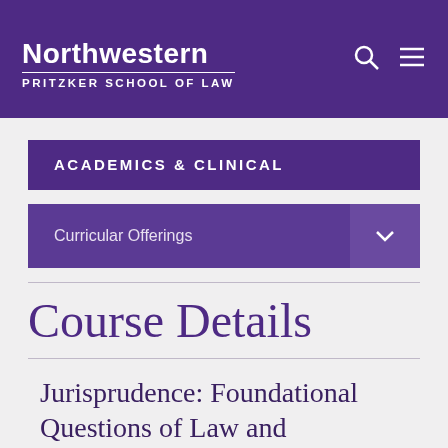Northwestern Pritzker School of Law
Academics & Clinical
Curricular Offerings
Course Details
Jurisprudence: Foundational Questions of Law and...